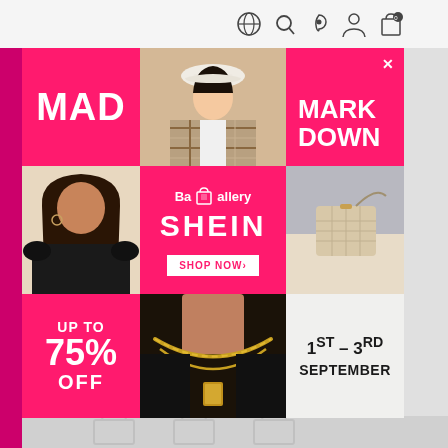[Figure (screenshot): Website top navigation bar with globe, search, location, user, and shopping bag (0) icons on the right side, on a light gray background]
[Figure (infographic): BaGallery x SHEIN Mad Markdown promotional banner. 3x3 grid layout on hot pink (#ff1a6e) and photo backgrounds. Top-left cell: 'MAD' in large white bold text on pink. Top-center: fashion model in plaid shirt and white bucket hat photo. Top-right: 'MARK DOWN' in large white bold text on pink with X close icon. Middle-left: female model in black top photo. Middle-center: BaGallery SHEIN logo with 'SHOP NOW>' button on pink. Middle-right: woman holding beige quilted crossbody bag photo. Bottom-left: 'UP TO 75% OFF' in white bold on pink. Bottom-center: gold layered necklace/jewelry close-up photo. Bottom-right: '1ST – 3RD SEPTEMBER' on light background.]